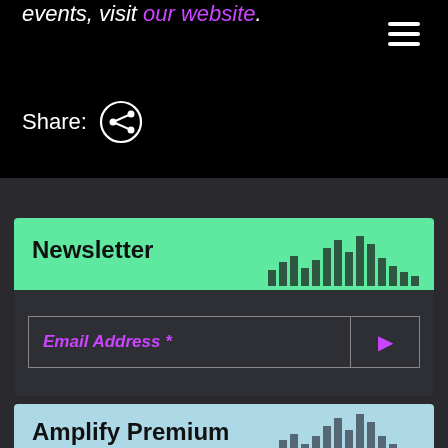events, visit our website.
[Figure (infographic): Share button with circular share icon]
[Figure (infographic): Newsletter signup widget with green header, bar chart decoration, email address input field with submit arrow button]
[Figure (infographic): Amplify Premium widget with light blue header and bar chart decoration]